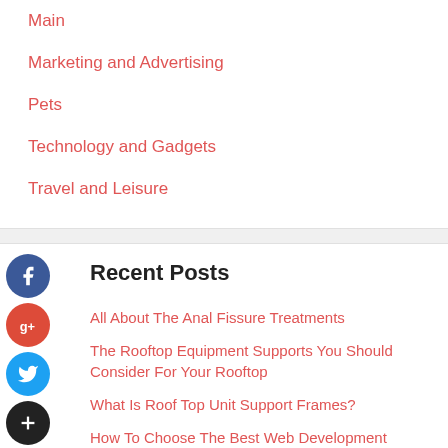Main
Marketing and Advertising
Pets
Technology and Gadgets
Travel and Leisure
Recent Posts
All About The Anal Fissure Treatments
The Rooftop Equipment Supports You Should Consider For Your Rooftop
What Is Roof Top Unit Support Frames?
How To Choose The Best Web Development Company For Your Business?